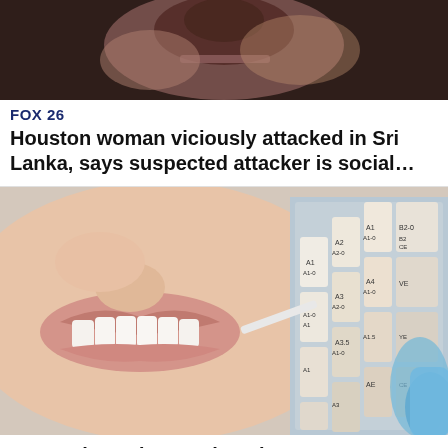[Figure (photo): Close-up photo of an injured person's face, showing bruising and cuts]
FOX 26
Houston woman viciously attacked in Sri Lanka, says suspected attacker is social…
[Figure (photo): Close-up photo of a woman smiling showing white teeth while a dental hygienist holds a tooth shade guide next to her mouth]
Just Released: Dental Implants Are Now Free With Medicare. See Options